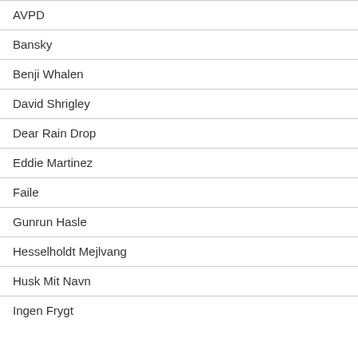AVPD
Bansky
Benji Whalen
David Shrigley
Dear Rain Drop
Eddie Martinez
Faile
Gunrun Hasle
Hesselholdt Mejlvang
Husk Mit Navn
Ingen Frygt